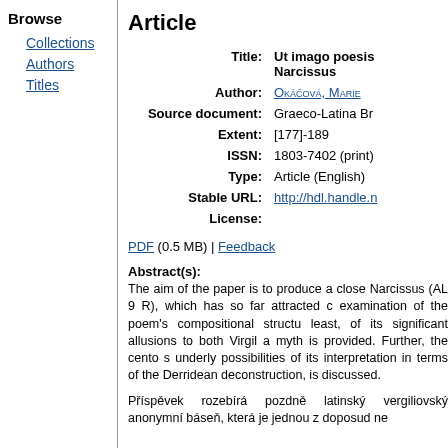Browse
Collections
Authors
Titles
Article
| Label | Value |
| --- | --- |
| Title: | Ut imago poesis Narcissus |
| Author: | Okáčová, Marie |
| Source document: | Graeco-Latina Br |
| Extent: | [177]-189 |
| ISSN: | 1803-7402 (print) |
| Type: | Article (English) |
| Stable URL: | http://hdl.handle.n |
| License: |  |
PDF (0.5 MB) | Feedback
Abstract(s):
The aim of the paper is to produce a close Narcissus (AL 9 R), which has so far attracted c examination of the poem's compositional structu least, of its significant allusions to both Virgil a myth is provided. Further, the cento s underly possibilities of its interpretation in terms of the Derridean deconstruction, is discussed.
Příspěvek rozebírá pozdně latinský vergiliovský anonymní báseň, která je jednou z doposud ne